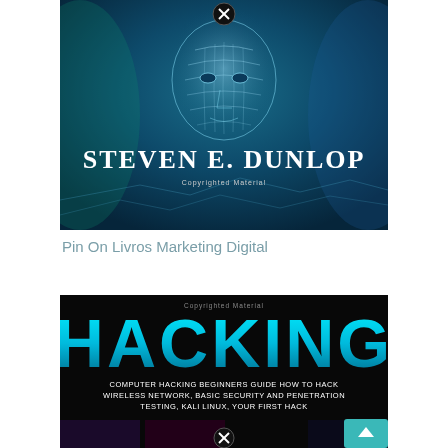[Figure (illustration): Book cover for 'Steven E. Dunlop' featuring a dark teal/blue digital human face with glowing mesh pattern. The author name 'STEVEN E. DUNLOP' appears in large white bold serif text. A close button (circled X) appears at the top center. Small text reads 'Copyrighted Material'.]
Pin On Livros Marketing Digital
[Figure (illustration): Book cover for 'HACKING' on a black background. Large cyan/blue bold text reads 'HACKING'. Below it in white text: 'COMPUTER HACKING BEGINNERS GUIDE HOW TO HACK WIRELESS NETWORK, BASIC SECURITY AND PENETRATION TESTING, KALI LINUX, YOUR FIRST HACK'. Small text at top reads 'Copyrighted Material'. A close button (circled X) at bottom center. A teal scroll-up button at bottom right. Partial book covers visible at the bottom.]